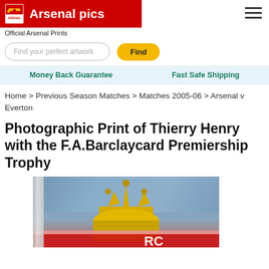Arsenal pics - Official Arsenal Prints
Find your perfect artwork
Money Back Guarantee   Fast Safe Shipping
Home > Previous Season Matches > Matches 2005-06 > Arsenal v Everton
Photographic Print of Thierry Henry with the F.A.Barclaycard Premiership Trophy
[Figure (photo): Premier League trophy (F.A. Barclaycard Premiership Trophy) gold crown visible against a blurred crowd background, with red and white ribbon decoration]